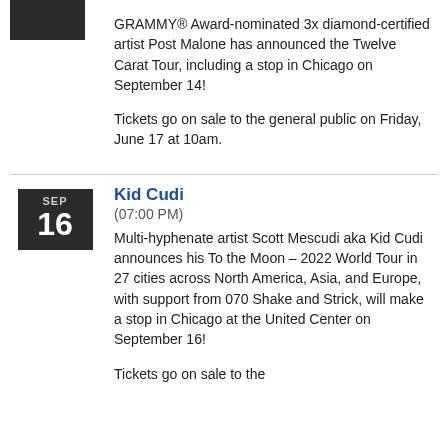GRAMMY® Award-nominated 3x diamond-certified artist Post Malone has announced the Twelve Carat Tour, including a stop in Chicago on September 14!
Tickets go on sale to the general public on Friday, June 17 at 10am.
Kid Cudi
(07:00 PM)
Multi-hyphenate artist Scott Mescudi aka Kid Cudi announces his To the Moon – 2022 World Tour in 27 cities across North America, Asia, and Europe, with support from 070 Shake and Strick, will make a stop in Chicago at the United Center on September 16!
Tickets go on sale to the